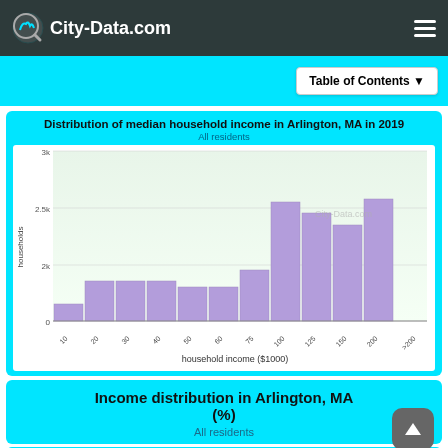City-Data.com
Table of Contents
Distribution of median household income in Arlington, MA in 2019
All residents
[Figure (histogram): Distribution of median household income in Arlington, MA in 2019]
Income distribution in Arlington, MA (%)
All residents